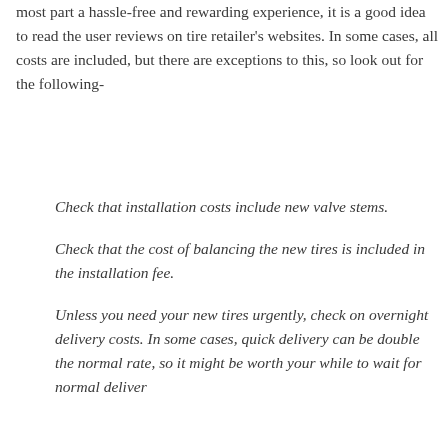most part a hassle-free and rewarding experience, it is a good idea to read the user reviews on tire retailer's websites. In some cases, all costs are included, but there are exceptions to this, so look out for the following-
Check that installation costs include new valve stems.
Check that the cost of balancing the new tires is included in the installation fee.
Unless you need your new tires urgently, check on overnight delivery costs. In some cases, quick delivery can be double the normal rate, so it might be worth your while to wait for normal deliver